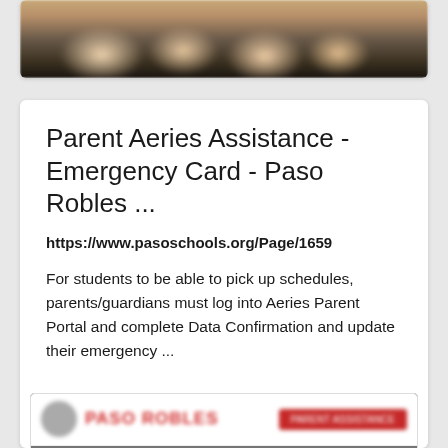[Figure (screenshot): Partial screenshot of a webpage showing a blurred crowd/audience image]
Parent Aeries Assistance - Emergency Card - Paso Robles ...
https://www.pasoschools.org/Page/1659
For students to be able to pick up schedules, parents/guardians must log into Aeries Parent Portal and complete Data Confirmation and update their emergency ...
[Figure (screenshot): Blurred screenshot of pasoschools.org website showing the Paso Robles school district homepage with logo, navigation bar, and a crowd/concert image]